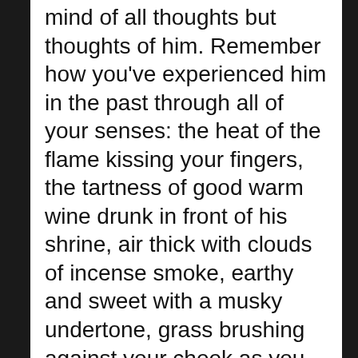mind of all thoughts but thoughts of him. Remember how you've experienced him in the past through all of your senses: the heat of the flame kissing your fingers, the tartness of good warm wine drunk in front of his shrine, air thick with clouds of incense smoke, earthy and sweet with a musky undertone, grass brushing against your cheek as you roll in a fit of laughter, black soil caught underneath your jagged and broken nails from pounding your fist into the ground as the tears cut fiery swaths down your cheek, that warm, sexy excitement that enfolds you whenever he's near. Breathe. Call to mind whatever